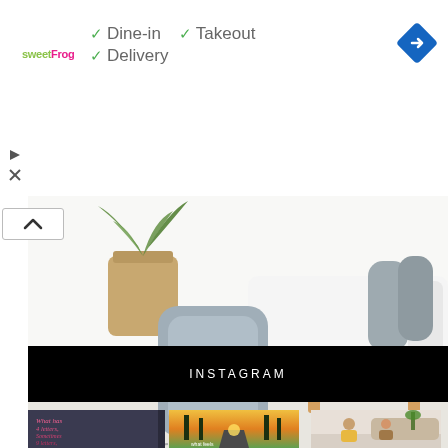[Figure (screenshot): Google Maps ad for sweetFrog showing Dine-in, Takeout, Delivery checkmarks with navigation diamond icon, followed by a product image of a massage chair leg device near a white couch and plant, then an Instagram section header, then three Instagram photo thumbnails below]
✓ Dine-in  ✓ Takeout
✓ Delivery
[Figure (photo): A grey massage leg cushion device placed in front of a white couch next to a wicker plant pot with tropical plant]
INSTAGRAM
[Figure (photo): Three Instagram photos: 1) chalkboard sign reading 'What has 4 letters, Sometimes 9 letters, but never...' 2) sunset road through trees with caption 'what feels...' 3) two women sitting on floor talking near couch]